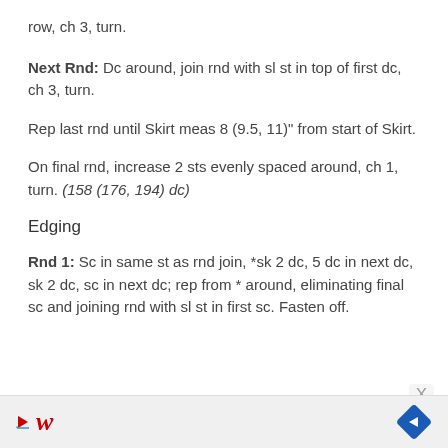row, ch 3, turn.
Next Rnd: Dc around, join rnd with sl st in top of first dc, ch 3, turn.
Rep last rnd until Skirt meas 8 (9.5, 11)" from start of Skirt.
On final rnd, increase 2 sts evenly spaced around, ch 1, turn. (158 (176, 194) dc)
Edging
Rnd 1: Sc in same st as rnd join, *sk 2 dc, 5 dc in next dc, sk 2 dc, sc in next dc; rep from * around, eliminating final sc and joining rnd with sl st in first sc. Fasten off.